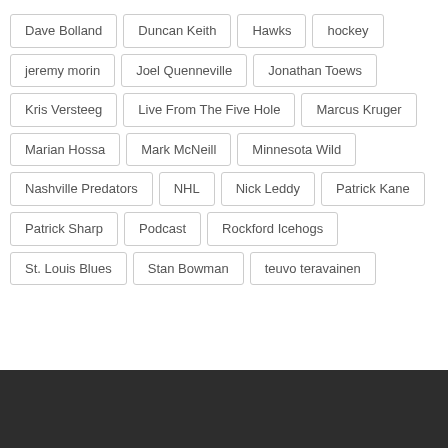Dave Bolland
Duncan Keith
Hawks
hockey
jeremy morin
Joel Quenneville
Jonathan Toews
Kris Versteeg
Live From The Five Hole
Marcus Kruger
Marian Hossa
Mark McNeill
Minnesota Wild
Nashville Predators
NHL
Nick Leddy
Patrick Kane
Patrick Sharp
Podcast
Rockford Icehogs
St. Louis Blues
Stan Bowman
teuvo teravainen